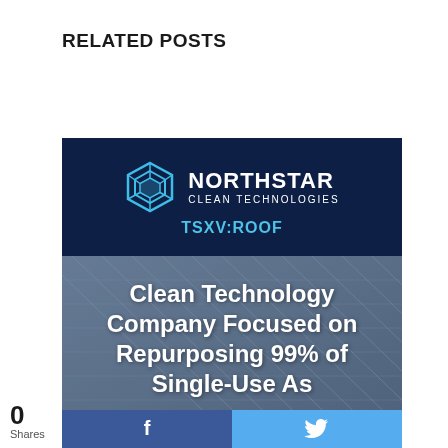RELATED POSTS
[Figure (logo): Northstar Clean Technologies promotional card. Top navy section shows the Northstar logo (geometric hexagon shape in light blue) and company name 'NORTHSTAR CLEAN TECHNOLOGIES' with ticker 'TSXV:ROOF' in light blue. Bottom section shows asphalt shingle roof background with white bold text: 'Clean Technology Company Focused on Repurposing 99% of Single-Use As...' with Facebook and Twitter share buttons at the bottom.]
0
Shares